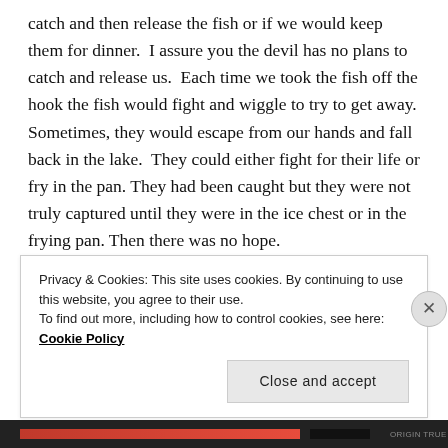catch and then release the fish or if we would keep them for dinner.  I assure you the devil has no plans to catch and release us.  Each time we took the fish off the hook the fish would fight and wiggle to try to get away.  Sometimes, they would escape from our hands and fall back in the lake.  They could either fight for their life or fry in the pan. They had been caught but they were not truly captured until they were in the ice chest or in the frying pan. Then there was no hope.

The devil may have caught you with his bait I mentioned earlier.  You may feel caught, you may feel
Privacy & Cookies: This site uses cookies. By continuing to use this website, you agree to their use.
To find out more, including how to control cookies, see here: Cookie Policy
Close and accept